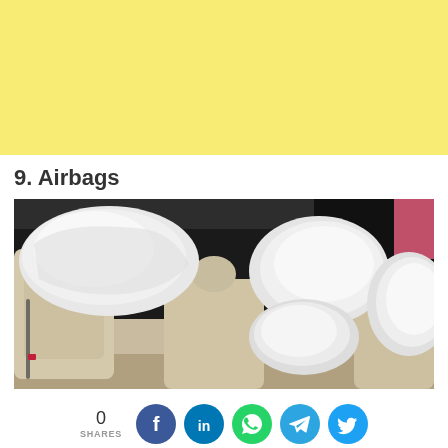[Figure (other): Yellow banner background at top of page]
9. Airbags
[Figure (photo): Car interior showing multiple deployed airbags including front curtain airbag, front passenger airbag, side airbags, and knee airbag. Car has beige/cream leather interior.]
0 SHARES
[Figure (infographic): Social share bar with 0 shares count and icons for Facebook, LinkedIn, WhatsApp, Telegram, and Twitter]